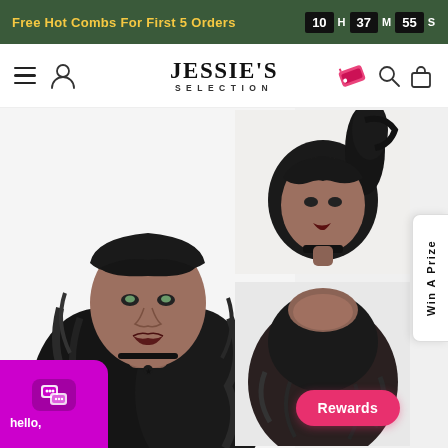Free Hot Combs For First 5 Orders  |  10 H  37 M  55 S
[Figure (logo): Jessie's Selection brand logo with hamburger menu, user icon, tag/rewards icon, search icon, and bag icon in navigation bar]
[Figure (photo): Three product photos of a mannequin wearing a long wavy black wig with bangs: one large main front view, one smaller upper-right angled view, and one partial lower-right back view]
Win A Prize
hello,
Rewards